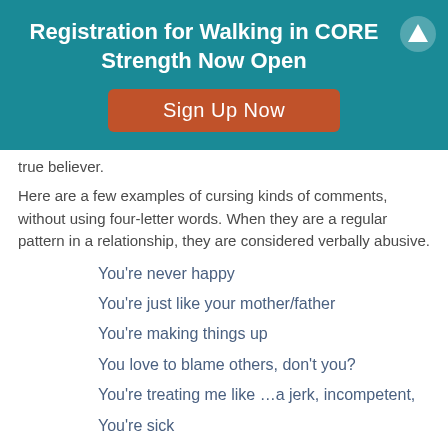Registration for Walking in CORE Strength Now Open
Sign Up Now
true believer.
Here are a few examples of cursing kinds of comments, without using four-letter words. When they are a regular pattern in a relationship, they are considered verbally abusive.
You're never happy
You're just like your mother/father
You're making things up
You love to blame others, don't you?
You're treating me like …a jerk, incompetent,
You're sick
You're crazy
You're a foolish woman
You have a Jezebel spirit